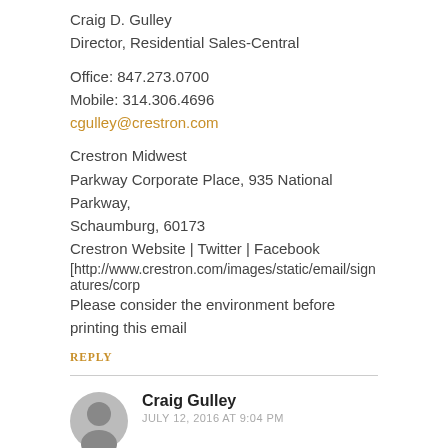Craig D. Gulley
Director, Residential Sales-Central
Office: 847.273.0700
Mobile: 314.306.4696
cgulley@crestron.com
Crestron Midwest
Parkway Corporate Place, 935 National Parkway, Schaumburg, 60173
Crestron Website | Twitter | Facebook
[http://www.crestron.com/images/static/email/signatures/corp
Please consider the environment before printing this email
REPLY
Craig Gulley
JULY 12, 2016 AT 9:04 PM
No pictures of the pink hotel or the bartender- shame on